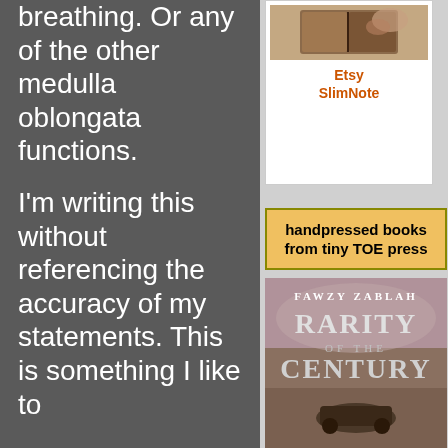breathing. Or any of the other medulla oblongata functions.
I'm writing this without referencing the accuracy of my statements. This is something I like to
[Figure (photo): Small product photo showing a slim notebook/book, brown tones]
Etsy SlimNote
[Figure (infographic): Yellow/orange banner reading: handpressed books from tiny TOE press]
[Figure (photo): Book cover: Fawzy Zablah - Rarity of the Century, showing desert scene with vehicle]